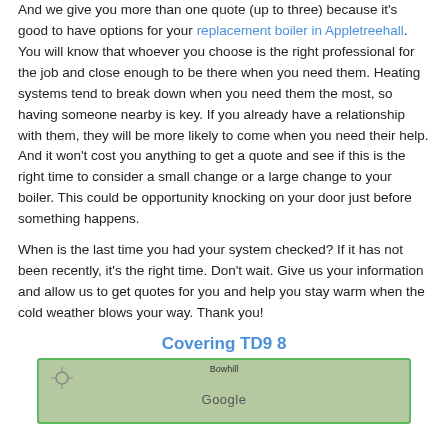And we give you more than one quote (up to three) because it's good to have options for your replacement boiler in Appletreehall. You will know that whoever you choose is the right professional for the job and close enough to be there when you need them. Heating systems tend to break down when you need them the most, so having someone nearby is key. If you already have a relationship with them, they will be more likely to come when you need their help. And it won't cost you anything to get a quote and see if this is the right time to consider a small change or a large change to your boiler. This could be opportunity knocking on your door just before something happens.
When is the last time you had your system checked? If it has not been recently, it's the right time. Don't wait. Give us your information and allow us to get quotes for you and help you stay warm when the cold weather blows your way. Thank you!
Covering TD9 8
[Figure (map): Google map snippet showing the Bowhill area with a green border]